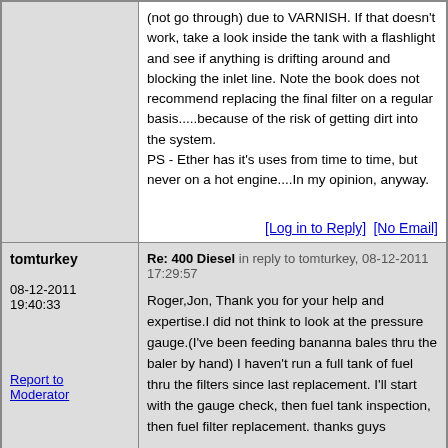(not go through) due to VARNISH. If that doesn't work, take a look inside the tank with a flashlight and see if anything is drifting around and blocking the inlet line. Note the book does not recommend replacing the final filter on a regular basis.....because of the risk of getting dirt into the system.
PS - Ether has it's uses from time to time, but never on a hot engine....In my opinion, anyway.
[Log in to Reply]  [No Email]
tomturkey
08-12-2011 19:40:33
Re: 400 Diesel in reply to tomturkey, 08-12-2011 17:29:57
Roger,Jon, Thank you for your help and expertise.I did not think to look at the pressure gauge.(I've been feeding bananna bales thru the baler by hand) I haven't run a full tank of fuel thru the filters since last replacement. I'll start with the gauge check, then fuel tank inspection, then fuel filter replacement. thanks guys
Report to Moderator